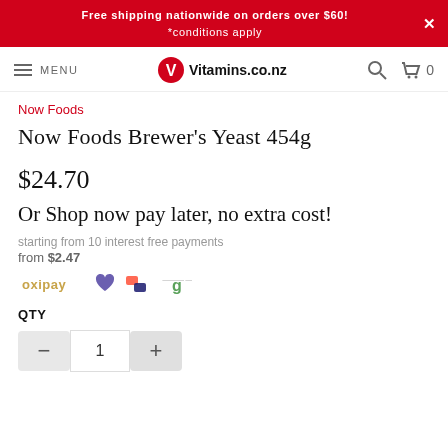Free shipping nationwide on orders over $60!
*conditions apply
MENU | Vitamins.co.nz
Now Foods
Now Foods Brewer's Yeast 454g
$24.70
Or Shop now pay later, no extra cost!
starting from 10 interest free payments from $2.47
[Figure (logo): Payment provider logos: oxipay, heart/laybuy, sezzle, genoapay]
QTY
- 1 +